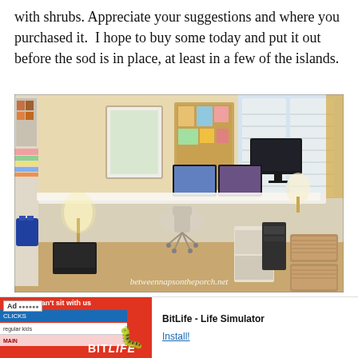with shrubs. Appreciate your suggestions and where you purchased it.  I hope to buy some today and put it out before the sod is in place, at least in a few of the islands.
[Figure (photo): Interior photo of a home office/craft room with an L-shaped white desk, computer monitors, office chair, shelving with supplies, wicker baskets, and plantation shutters. Watermark reads 'betweennapsontheporch.net'.]
If you're new to reading BNOTP, to see additional posts about th... le top, then cli...
[Figure (screenshot): Advertisement banner for BitLife - Life Simulator app. Red background with 'You can't sit with us' text, blue and white rows, BitLife logo, sperm icon graphic, and Install button. Ad label visible.]